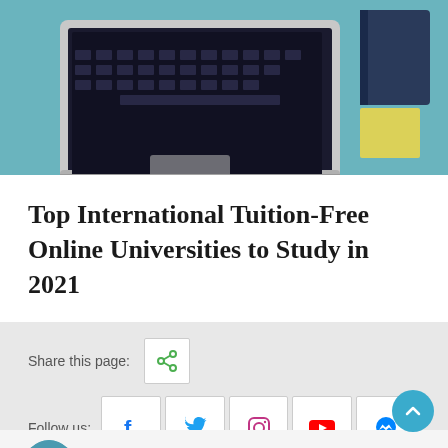[Figure (photo): Laptop and tablet on a light blue desk surface, photographed from above/side angle]
Top International Tuition-Free Online Universities to Study in 2021
Share this page:
Follow us:
[Figure (infographic): Social media share button (green share icon) and follow us social media icons: Facebook (blue f), Twitter (blue bird), Instagram (pink/purple camera), YouTube (red play button), Messenger (blue lightning bolt)]